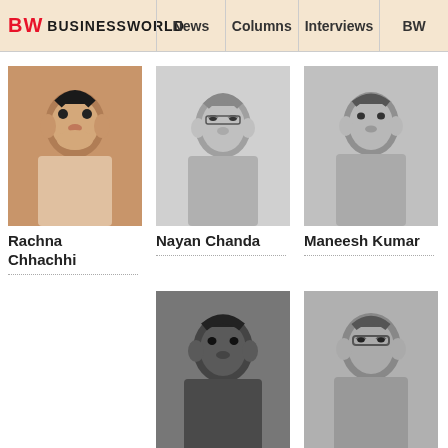BW BUSINESSWORLD | News | Columns | Interviews | BW
[Figure (photo): Headshot of Rachna Chhachhi]
Rachna Chhachhi
[Figure (photo): Headshot of Nayan Chanda]
Nayan Chanda
[Figure (photo): Headshot of Maneesh Kumar]
Maneesh Kumar
[Figure (photo): Headshot of Indranil Sarkar]
Indranil Sarkar
[Figure (photo): Headshot of Sandeep Bamzai]
Sandeep Bamzai
[Figure (photo): Headshot of Temsutula Imsong]
Temsutula Imsong
[Figure (photo): Headshot of Bikramjit Ray]
Bikramjit Ray
[Figure (screenshot): Ads by eRG video overlay with play button]